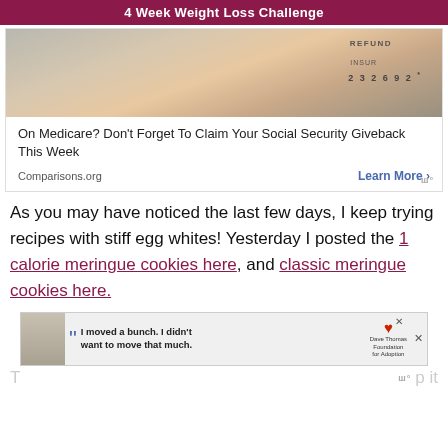4 Week Weight Loss Challenge
[Figure (screenshot): Advertisement image showing a hand holding a check with text 'REFUND', 'INSUR', and number '23269 2*']
On Medicare? Don't Forget To Claim Your Social Security Giveback This Week
Comparisons.org    Learn More >
As you may have noticed the last few days, I keep trying recipes with stiff egg whites! Yesterday I posted the 1 calorie meringue cookies here, and classic meringue cookies here.
[Figure (screenshot): Advertisement for Dave Thomas Foundation for Adoption with quote 'I moved a bunch. I didn't want to move that much.']